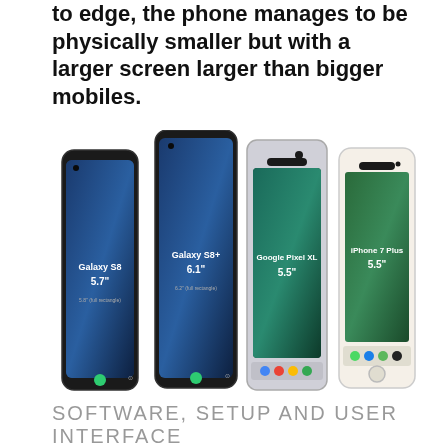to edge, the phone manages to be physically smaller but with a larger screen larger than bigger mobiles.
[Figure (photo): Four smartphones shown side by side for comparison: Galaxy S8 (5.7"), Galaxy S8+ (6.1"), Google Pixel XL (5.5"), and iPhone 7 Plus (5.5"). The Samsung phones have dark screens with edge-to-edge displays, the Pixel XL shows an Android home screen, and the iPhone 7 Plus shows an iOS home screen.]
SOFTWARE, SETUP AND USER INTERFACE